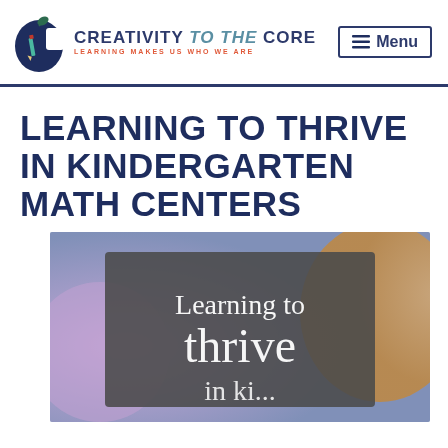[Figure (logo): Creativity to the Core logo with apple icon and text 'LEARNING MAKES US WHO WE ARE']
LEARNING TO THRIVE IN KINDERGARTEN MATH CENTERS
[Figure (photo): Photo with overlay text 'Learning to thrive in...' on a chalkboard background with blurred wooden objects]